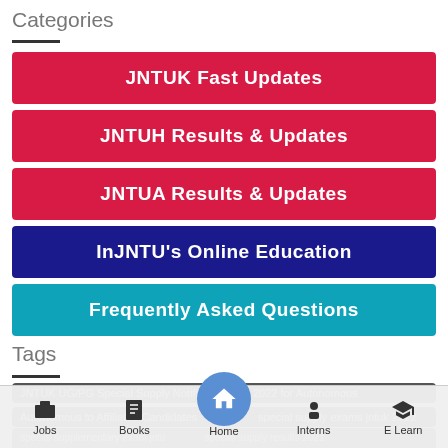Categories
JNTUK Fast Updates
JNTUH Results & Updates
JNTUA Results & Updates
InJNTU's Online Education
Frequently Asked Questions
Tags
JNTUK UG/PG Special Supply Notification July 2022 for Autonomous
Autonomous to Affiliated Candidates
special supply exams jntuk 2022
special supplementary exam jntu
special supply results 2021
Jobs  Books  Home  Interns  E Learn